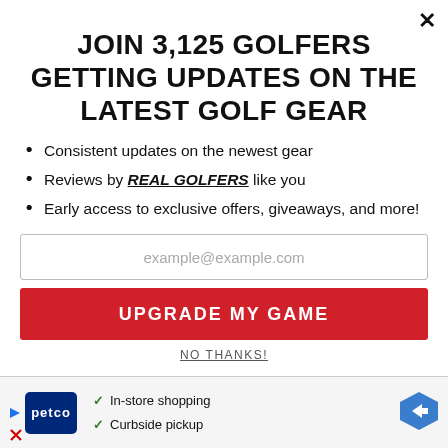JOIN 3,125 GOLFERS GETTING UPDATES ON THE LATEST GOLF GEAR
Consistent updates on the newest gear
Reviews by REAL GOLFERS like you
Early access to exclusive offers, giveaways, and more!
example@example.com
UPGRADE MY GAME
NO THANKS!
[Figure (other): Petco advertisement banner with logo, checkmarks for In-store shopping and Curbside pickup, and a navigation arrow icon]